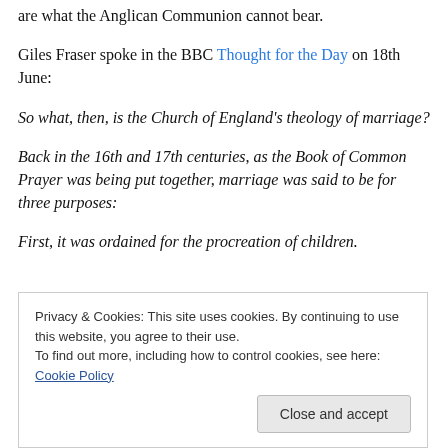are what the Anglican Communion cannot bear.
Giles Fraser spoke in the BBC Thought for the Day on 18th June:
So what, then, is the Church of England's theology of marriage?
Back in the 16th and 17th centuries, as the Book of Common Prayer was being put together, marriage was said to be for three purposes:
First, it was ordained for the procreation of children.
Privacy & Cookies: This site uses cookies. By continuing to use this website, you agree to their use.
To find out more, including how to control cookies, see here: Cookie Policy